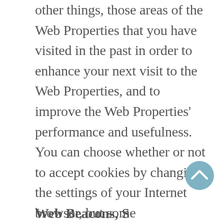other things, those areas of the Web Properties that you have visited in the past in order to enhance your next visit to the Web Properties, and to improve the Web Properties' performance and usefulness. You can choose whether or not to accept cookies by changing the settings of your Internet browser, but some functionality of the Web Properties may be impaired or not function as intended if you choose not to accept cookies. Each browser is a little different, so look at your Help menu to learn the correct way to modify your cookies. For more information about cookies, including how to set your browser to reject cookies, visit www.allaboutcookies.org.
Web Beacons, Spectral...